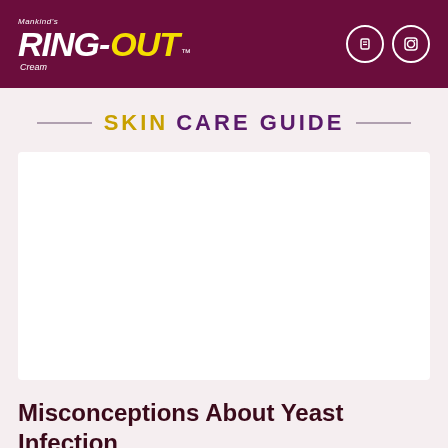Mankind's RING-OUT Cream
SKIN CARE GUIDE
[Figure (photo): White card area with image placeholder for article about yeast infection]
Misconceptions About Yeast Infection